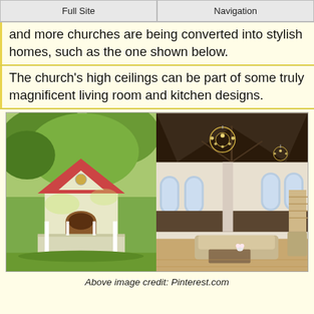Full Site | Navigation
and more churches are being converted into stylish homes, such as the one shown below.
The church's high ceilings can be part of some truly magnificent living room and kitchen designs.
[Figure (photo): Left: exterior of a small yellow church converted to a home with red roof and arched doorway surrounded by trees. Right: interior of a church-converted home showing high dark vaulted ceilings with chandeliers, arched gothic windows, open living room with sofas and hardwood floors.]
Above image credit: Pinterest.com